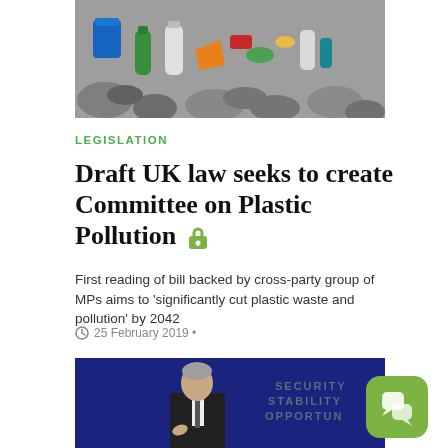[Figure (photo): Pile of plastic waste and bottles on rocky shore]
LEGISLATION
Draft UK law seeks to create Committee on Plastic Pollution
First reading of bill backed by cross-party group of MPs aims to 'significantly cut plastic waste and pollution' by 2042
25 February 2019 •
[Figure (photo): Man in suit speaking at podium with words SECURITY STABILITY OPPORTUN visible on backdrop]